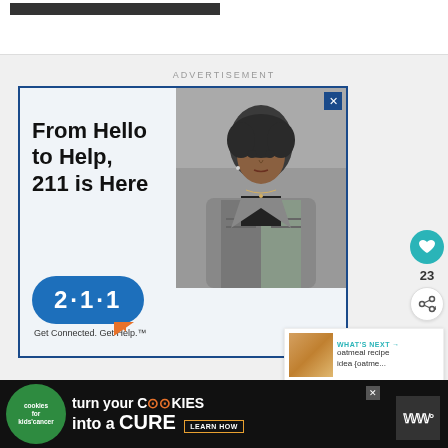[Figure (screenshot): Top area of webpage with dark navigation bar partially visible]
ADVERTISEMENT
[Figure (infographic): 211 service advertisement showing 'From Hello to Help, 211 is Here' with photo of young woman and 211 chat bubble logo. Tagline: Get Connected. Get Help.]
23
WHAT'S NEXT → oatmeal recipe idea {oatme...
[Figure (infographic): Bottom banner ad: cookies for kids cancer - turn your COOKIES into a CURE LEARN HOW]